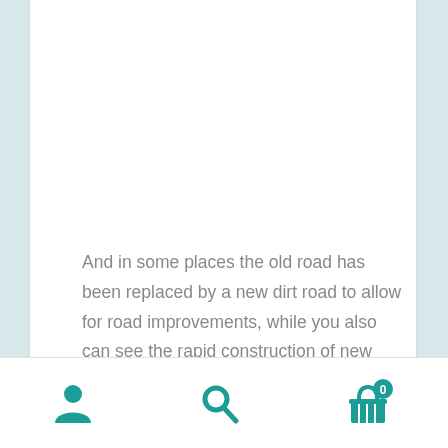And in some places the old road has been replaced by a new dirt road to allow for road improvements, while you also can see the rapid construction of new apartment buildings that are replacing the single standing houses.
[Figure (other): Bottom navigation bar with three icons: a user/person icon, a search/magnifying glass icon, and a shopping basket icon with a badge showing 0]